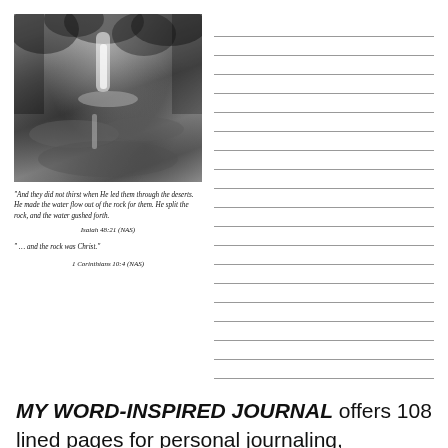[Figure (photo): Black and white photograph of a waterfall flowing over rocks through a forested ravine]
"And they did not thirst when He led them through the deserts. He made the water flow out of the rock for them. He split the rock, and the water gushed forth."
Isaiah 48:21 (NAS)
" … and the rock was Christ."
1 Corinthians 10:4 (NAS)
MY WORD-INSPIRED JOURNAL offers 108 lined pages for personal journaling, interspersed with 12 great pictures and scripture passages to inspire meditation and devotional thought.  This journal is perfect to use for personal devotion times or as a